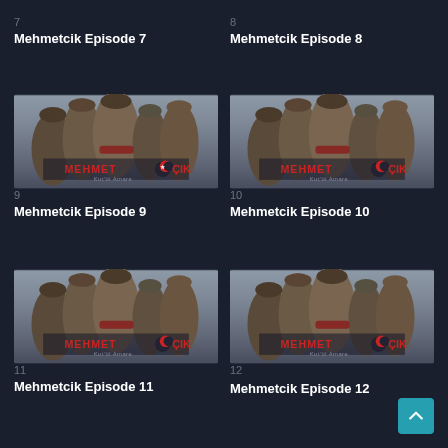7
Mehmetcik Episode 7
8
Mehmetcik Episode 8
[Figure (photo): Mehmetcik Kut'ul-Amare TV show promotional poster with military characters]
9
Mehmetcik Episode 9
[Figure (photo): Mehmetcik Kut'ul-Amare TV show promotional poster with military characters]
10
Mehmetcik Episode 10
[Figure (photo): Mehmetcik Kut'ul-Amare TV show promotional poster with military characters]
11
Mehmetcik Episode 11
[Figure (photo): Mehmetcik Kut'ul-Amare TV show promotional poster with military characters]
12
Mehmetcik Episode 12